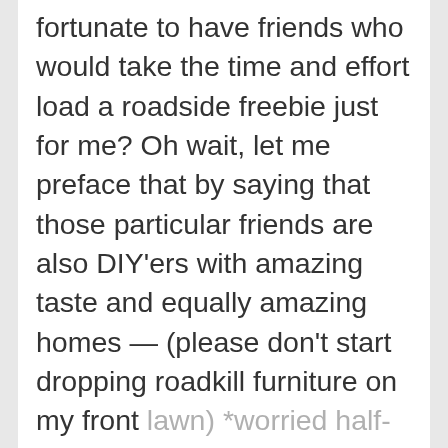fortunate to have friends who would take the time and effort load a roadside freebie just for me? Oh wait, let me preface that by saying that those particular friends are also DIY'ers with amazing taste and equally amazing homes — (please don't start dropping roadkill furniture on my front lawn) *worried half-grin*.